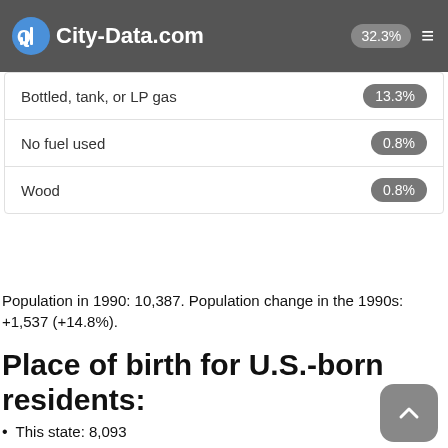City-Data.com | 32.3%
| Fuel Type | Percentage |
| --- | --- |
| Bottled, tank, or LP gas | 13.3% |
| No fuel used | 0.8% |
| Wood | 0.8% |
Population in 1990: 10,387. Population change in the 1990s: +1,537 (+14.8%).
Place of birth for U.S.-born residents:
This state: 8,093
Northeast: 473
Midwest: 2,177